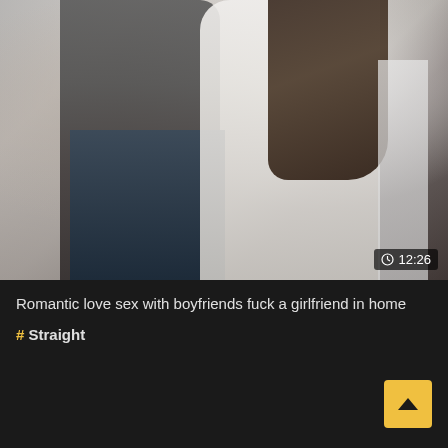[Figure (screenshot): Video thumbnail showing two people, one in dark clothing and jeans, one in white dress, with a duration badge showing 12:26 in the bottom right corner]
Romantic love sex with boyfriends fuck a girlfriend in home
# Straight